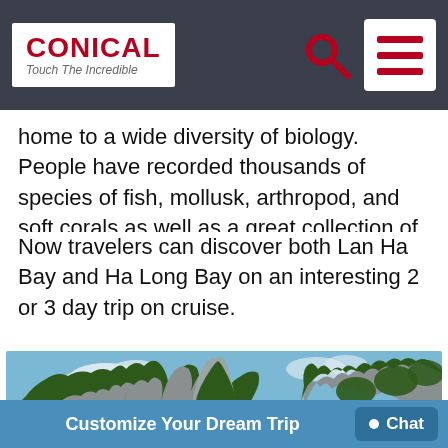CONICAL Touch The Incredible
home to a wide diversity of biology. People have recorded thousands of species of fish, mollusk, arthropod, and soft corals as well as a great collection of dolphins and other marine animals.
Now travelers can discover both Lan Ha Bay and Ha Long Bay on an interesting 2 or 3 day trip on cruise.
[Figure (photo): Tall karst limestone rock formations covered in green vegetation rising from the water, with blue sky and clouds in the background — Lan Ha Bay / Ha Long Bay, Vietnam.]
Customize Your Dream Trip  Chat